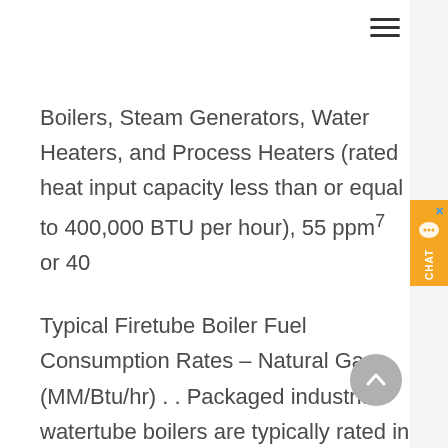Boilers, Steam Generators, Water Heaters, and Process Heaters (rated heat input capacity less than or equal to 400,000 BTU per hour), 55 ppm7 or 40
Typical Firetube Boiler Fuel Consumption Rates – Natural Gas (MM/Btu/hr) . . Packaged industrial watertube boilers are typically rated in pounds of steam per hour output .. drop and, at 1:30 in the afternoon, all 2,000 workers are sent home.
$28.78 per hour. Typical Entry-Level Education. High school diploma or